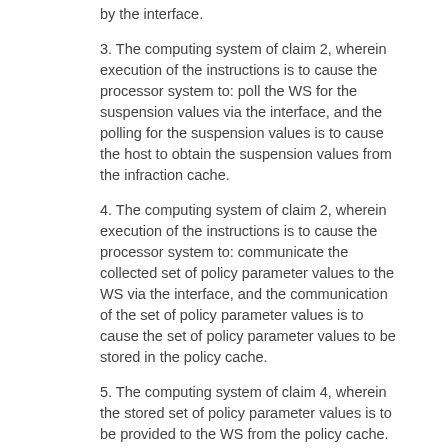by the interface.
3. The computing system of claim 2, wherein execution of the instructions is to cause the processor system to: poll the WS for the suspension values via the interface, and the polling for the suspension values is to cause the host to obtain the suspension values from the infraction cache.
4. The computing system of claim 2, wherein execution of the instructions is to cause the processor system to: communicate the collected set of policy parameter values to the WS via the interface, and the communication of the set of policy parameter values is to cause the set of policy parameter values to be stored in the policy cache.
5. The computing system of claim 4, wherein the stored set of policy parameter values is to be provided to the WS from the policy cache.
6. The computing system of claim 1, wherein the policy cache, the metric cache, and the infraction cache are opaque to the computing system.
7. The computing system of claim 1, wherein execution of